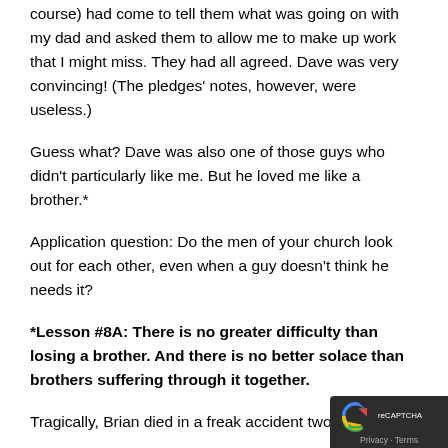course) had come to tell them what was going on with my dad and asked them to allow me to make up work that I might miss. They had all agreed. Dave was very convincing! (The pledges' notes, however, were useless.)
Guess what? Dave was also one of those guys who didn't particularly like me. But he loved me like a brother.*
Application question: Do the men of your church look out for each other, even when a guy doesn't think he needs it?
*Lesson #8A: There is no greater difficulty than losing a brother. And there is no better solace than brothers suffering through it together.
Tragically, Brian died in a freak accident two years after